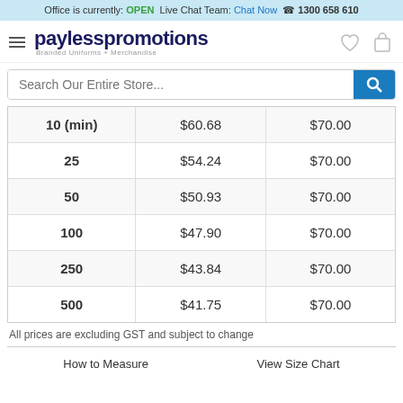Office is currently: OPEN  Live Chat Team: Chat Now  1300 658 610
[Figure (logo): Payless Promotions logo with tagline Branded Uniforms + Merchandise, hamburger menu icon, heart icon, and bag icon]
[Figure (screenshot): Search bar with placeholder text: Search Our Entire Store...]
| 10 (min) | $60.68 | $70.00 |
| 25 | $54.24 | $70.00 |
| 50 | $50.93 | $70.00 |
| 100 | $47.90 | $70.00 |
| 250 | $43.84 | $70.00 |
| 500 | $41.75 | $70.00 |
All prices are excluding GST and subject to change
How to Measure    View Size Chart